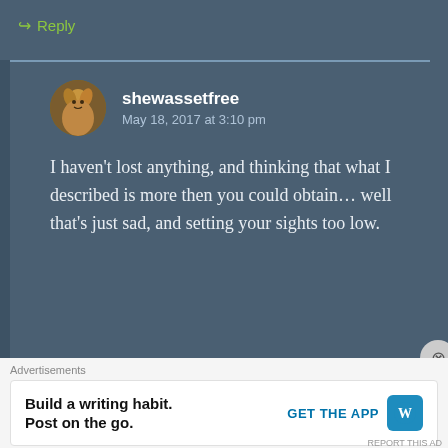↪ Reply
shewassetfree
May 18, 2017 at 3:10 pm
I haven't lost anything, and thinking that what I described is more then you could obtain… well that's just sad, and setting your sights too low.
Advertisements
Build a writing habit.
Post on the go.
GET THE APP